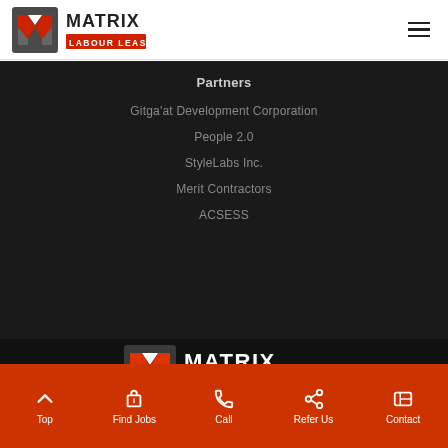[Figure (logo): Matrix Labour Leasing logo — M icon with red/grey chevron and 'LABOUR LEASING' text on red bar]
Partners
Gitga'at Development Corporation
People 2.0
StyleLabs Inc.
Merit Contractors
ACSESS
[Figure (logo): Matrix Labour Leasing logo — large version on dark background]
Top  Find Jobs  Call  Refer Us  Contact